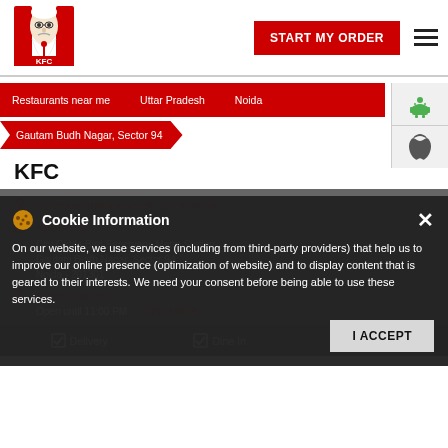[Figure (logo): KFC logo with colonel face and KFC text in red and white]
START MY ORDER
[Figure (illustration): Hamburger menu icon (three horizontal lines)]
Restaurants near me
Uttar Pradesh
Noida
Gautam Budh Nagar, Sector 94
[Figure (logo): Android robot icon]
[Figure (logo): Apple logo icon]
KFC
GAUTAM BUDH NAGAR, SECTOR 94
ADDRESS
City Okhla Bird Sanctuary, Metro Station
Gautam Budh Nagar, Sector 94
Noida - 201301
STORE TIMING
Open until 11:00 PM
OPEN NOW
Delivery   Dine In   Takeaway
Cookie Information
On our website, we use services (including from third-party providers) that help us to improve our online presence (optimization of website) and to display content that is geared to their interests. We need your consent before being able to use these services.
I ACCEPT